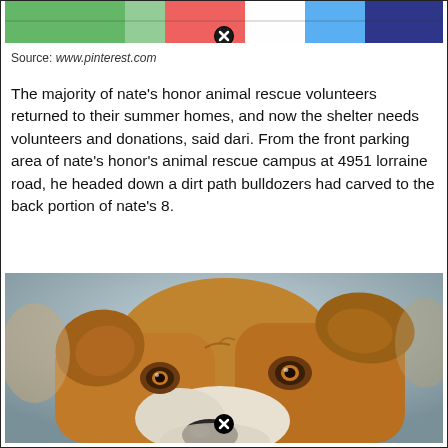[Figure (photo): Top portion of a colorful image (partially visible), showing green, red, white, and blue/dark colors, with a close/delete button (circled X) overlay at the bottom center.]
Source: www.pinterest.com
The majority of nate's honor animal rescue volunteers returned to their summer homes, and now the shelter needs volunteers and donations, said dari. From the front parking area of nate's honor's animal rescue campus at 4951 lorraine road, he headed down a dirt path bulldozers had carved to the back portion of nate's 8.
[Figure (photo): Close-up photograph of a brown and white pit bull or mixed breed dog looking upward at the camera with amber eyes and a black-tipped nose, with a blurred grey background. A close/delete button (circled X) overlay appears at the bottom center.]